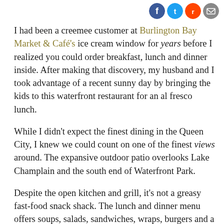[Figure (infographic): Social media sharing icons: Facebook (blue circle), Twitter (blue circle), Reddit (orange circle), Email (grey circle)]
I had been a creemee customer at Burlington Bay Market & Café's ice cream window for years before I realized you could order breakfast, lunch and dinner inside. After making that discovery, my husband and I took advantage of a recent sunny day by bringing the kids to this waterfront restaurant for an al fresco lunch.
While I didn't expect the finest dining in the Queen City, I knew we could count on one of the finest views around. The expansive outdoor patio overlooks Lake Champlain and the south end of Waterfront Park.
Despite the open kitchen and grill, it's not a greasy fast-food snack shack. The lunch and dinner menu offers soups, salads, sandwiches, wraps, burgers and a few daily specials. You'll find fresh meat and vegetables,